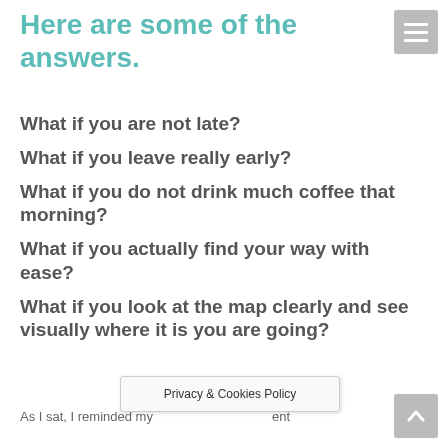Here are some of the answers.
What if you are not late?
What if you leave really early?
What if you do not drink much coffee that morning?
What if you actually find your way with ease?
What if you look at the map clearly and see visually where it is you are going?
As I sat, I reminded my … ent
Privacy & Cookies Policy